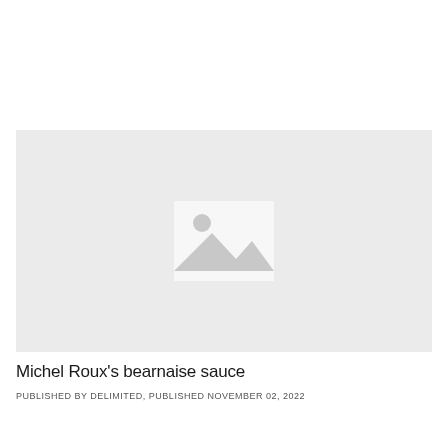[Figure (photo): Placeholder image with grey background and a generic image icon (mountain and sun silhouette) in the center]
Michel Roux's bearnaise sauce
PUBLISHED BY DELIMITED, PUBLISHED NOVEMBER 02, 2022